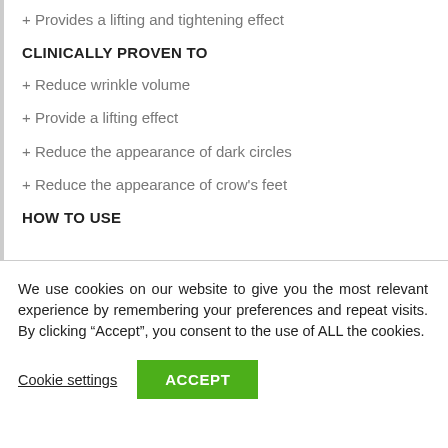+ Provides a lifting and tightening effect
CLINICALLY PROVEN TO
+ Reduce wrinkle volume
+ Provide a lifting effect
+ Reduce the appearance of dark circles
+ Reduce the appearance of crow's feet
HOW TO USE
We use cookies on our website to give you the most relevant experience by remembering your preferences and repeat visits. By clicking “Accept”, you consent to the use of ALL the cookies.
Cookie settings   ACCEPT